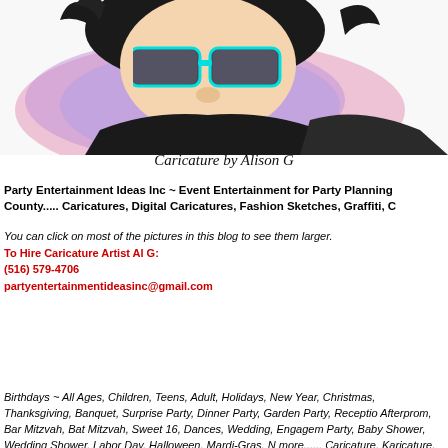[Figure (illustration): Caricature illustration showing a face with colorful sunglasses and dramatic hair, with pink and purple background glow]
Caricature by Alison G
Party Entertainment Ideas Inc ~ Event Entertainment for Party Planning County..... Caricatures, Digital Caricatures, Fashion Sketches, Graffiti, C
You can click on most of the pictures in this blog to see them larger.
To Hire Caricature Artist Al G:
(516) 579-4706
partyentertainmentideasinc@gmail.com
Birthdays ~ All Ages, Children, Teens, Adult, Holidays, New Year, Christmas, Thanksgiving, Banquet, Surprise Party, Dinner Party, Garden Party, Receptio Afterprom, Bar Mitzvah, Bat Mitzvah, Sweet 16, Dances, Wedding, Engagem Party, Baby Shower, Wedding Shower, Labor Day, Halloween, Mardi-Gras, N more...... Caricature, Karicature, Characature, Carackature, Carikature, Chara County, Merrick, Garden City, Brookville, Copiague, Franklin Square, Hunting Cedarhurst, Wantagh, Lawrence, Hewlett, Woodmere, Levittown, Mineola, G